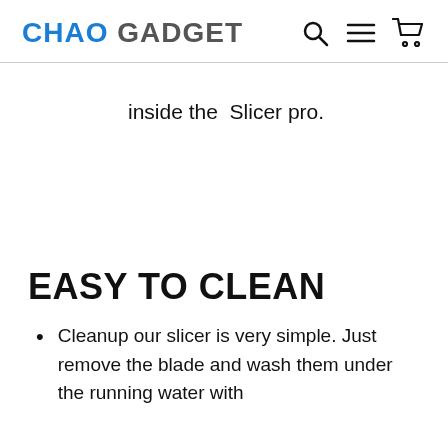CHAO GADGET
inside the  Slicer pro.
EASY TO CLEAN
Cleanup our slicer is very simple. Just remove the blade and wash them under the running water with